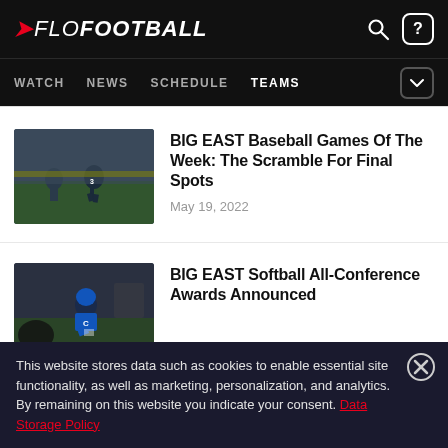FLOFOOTBALL — WATCH NEWS SCHEDULE TEAMS
[Figure (screenshot): Baseball player running bases thumbnail]
BIG EAST Baseball Games Of The Week: The Scramble For Final Spots
May 19, 2022
[Figure (screenshot): Softball player kneeling in uniform thumbnail]
BIG EAST Softball All-Conference Awards Announced
This website stores data such as cookies to enable essential site functionality, as well as marketing, personalization, and analytics. By remaining on this website you indicate your consent. Data Storage Policy